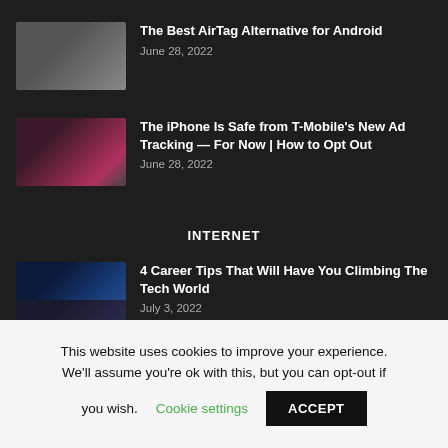[Figure (photo): Thumbnail image blurred/dark gray for AirTag article]
The Best AirTag Alternative for Android
June 28, 2022
[Figure (photo): Thumbnail image with pink/dark tones for T-Mobile article]
The iPhone Is Safe from T-Mobile’s New Ad Tracking — For Now | How to Opt Out
June 28, 2022
INTERNET
[Figure (photo): Thumbnail with dark blue tones for career tips article]
4 Career Tips That Will Have You Climbing The Tech World
July 3, 2022
This website uses cookies to improve your experience. We’ll assume you’re ok with this, but you can opt-out if you wish. Cookie settings ACCEPT